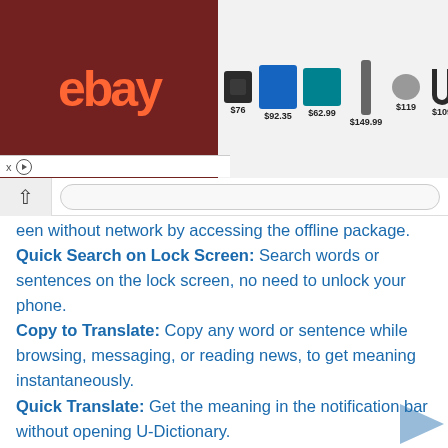[Figure (screenshot): eBay advertisement banner showing products: Bose speaker ($76), Makita drill combo ($92.35), Makita reciprocating saw ($62.99), vacuum ($149.99), earbuds ($119), carabiner/hook ($109)]
een without network by accessing the offline package.
Quick Search on Lock Screen: Search words or sentences on the lock screen, no need to unlock your phone.
Copy to Translate: Copy any word or sentence while browsing, messaging, or reading news, to get meaning instantaneously.
Quick Translate: Get the meaning in the notification bar without opening U-Dictionary.
Offline Dictionary: 38 Languages and synonyms, antonyms, phrases, cognate words, English sample sentences, Collins Advanced Dictionary and WordNet Dictionary.